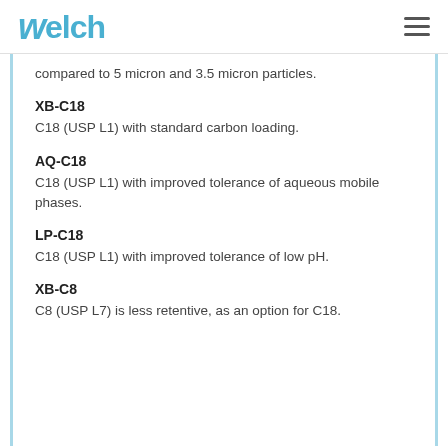Welch
compared to 5 micron and 3.5 micron particles.
XB-C18
C18 (USP L1) with standard carbon loading.
AQ-C18
C18 (USP L1) with improved tolerance of aqueous mobile phases.
LP-C18
C18 (USP L1) with improved tolerance of low pH.
XB-C8
C8 (USP L7) is less retentive, as an option for C18.